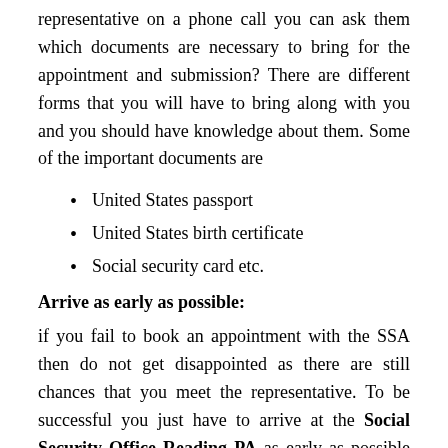representative on a phone call you can ask them which documents are necessary to bring for the appointment and submission? There are different forms that you will have to bring along with you and you should have knowledge about them. Some of the important documents are
United States passport
United States birth certificate
Social security card etc.
Arrive as early as possible:
if you fail to book an appointment with the SSA then do not get disappointed as there are still chances that you meet the representative. To be successful you just have to arrive at the Social Security Office Reading PA as early as possible that is before 9 AM.